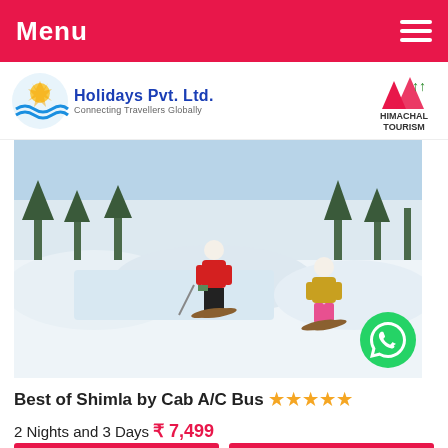Menu
[Figure (logo): Holidays Pvt. Ltd. logo with wave and sun graphic, tagline: Connecting Travellers Globally, and Himachal Tourism logo on the right]
[Figure (photo): Two skiers skiing down a snowy slope with trees in background, one in red jacket and one in yellow jacket]
Best of Shimla by Cab A/C Bus ★★★★★
2 Nights and 3 Days ₹ 7,499